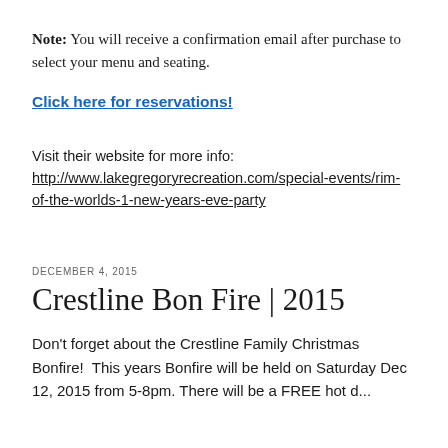Note: You will receive a confirmation email after purchase to select your menu and seating.
Click here for reservations!
Visit their website for more info:
http://www.lakegregoryrecreation.com/special-events/rim-of-the-worlds-1-new-years-eve-party
DECEMBER 4, 2015
Crestline Bon Fire | 2015
Don't forget about the Crestline Family Christmas Bonfire!  This years Bonfire will be held on Saturday Dec 12, 2015 from 5-8pm. There will be a FREE hot d...